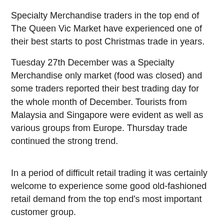Specialty Merchandise traders in the top end of The Queen Vic Market have experienced one of their best starts to post Christmas trade in years.
Tuesday 27th December was a Specialty Merchandise only market (food was closed) and some traders reported their best trading day for the whole month of December. Tourists from Malaysia and Singapore were evident as well as various groups from Europe. Thursday trade continued the strong trend.
In a period of difficult retail trading it was certainly welcome to experience some good old-fashioned retail demand from the top end's most important customer group.
Have Your Say - click here.